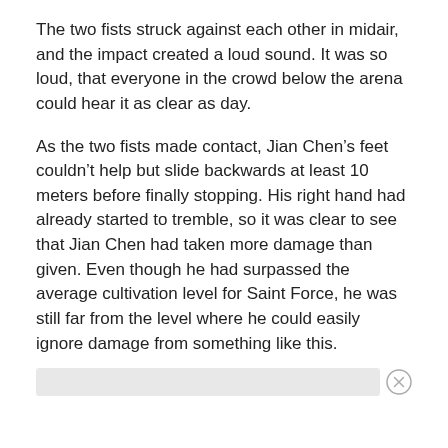The two fists struck against each other in midair, and the impact created a loud sound. It was so loud, that everyone in the crowd below the arena could hear it as clear as day.
As the two fists made contact, Jian Chen’s feet couldn’t help but slide backwards at least 10 meters before finally stopping. His right hand had already started to tremble, so it was clear to see that Jian Chen had taken more damage than given. Even though he had surpassed the average cultivation level for Saint Force, he was still far from the level where he could easily ignore damage from something like this.
[Figure (other): A gray advertisement bar with a circular X/close button on the right side]